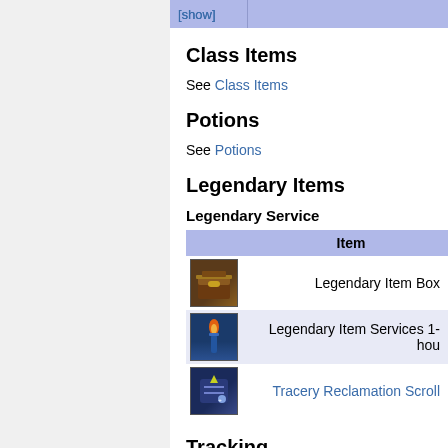[show]
Class Items
See Class Items
Potions
See Potions
Legendary Items
Legendary Service
|  | Item |
| --- | --- |
| [icon] | Legendary Item Box |
| [icon] | Legendary Item Services 1-hou... |
| [icon] | Tracery Reclamation Scroll |
Tracking
See Tracking